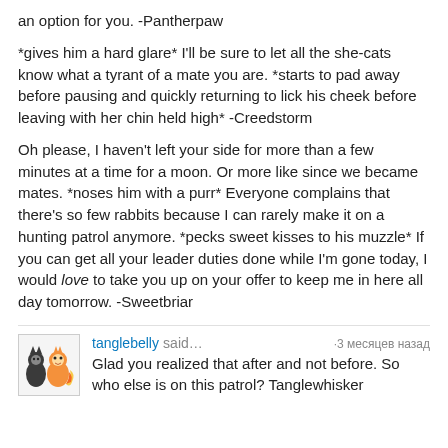an option for you. -Pantherpaw
*gives him a hard glare* I'll be sure to let all the she-cats know what a tyrant of a mate you are. *starts to pad away before pausing and quickly returning to lick his cheek before leaving with her chin held high* -Creedstorm
Oh please, I haven't left your side for more than a few minutes at a time for a moon. Or more like since we became mates. *noses him with a purr* Everyone complains that there's so few rabbits because I can rarely make it on a hunting patrol anymore. *pecks sweet kisses to his muzzle* If you can get all your leader duties done while I'm gone today, I would love to take you up on your offer to keep me in here all day tomorrow. -Sweetbriar
tanglebelly said… ·3 месяцев назад
Glad you realized that after and not before. So who else is on this patrol? Tanglewhisker